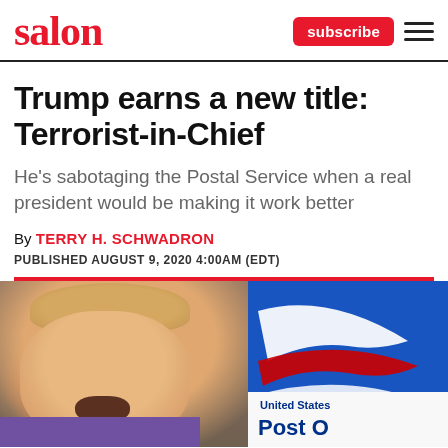salon | subscribe
Trump earns a new title: Terrorist-in-Chief
He's sabotaging the Postal Service when a real president would be making it work better
By TERRY H. SCHWADRON
PUBLISHED AUGUST 9, 2020 4:00AM (EDT)
[Figure (photo): Composite image: left side shows Donald Trump with mouth open, right side shows a USPS mailbox with United States Post Office logo]